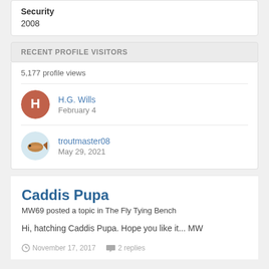Security
2008
RECENT PROFILE VISITORS
5,177 profile views
H.G. Wills
February 4
troutmaster08
May 29, 2021
Caddis Pupa
MW69 posted a topic in The Fly Tying Bench
Hi, hatching Caddis Pupa. Hope you like it... MW
November 17, 2017   2 replies